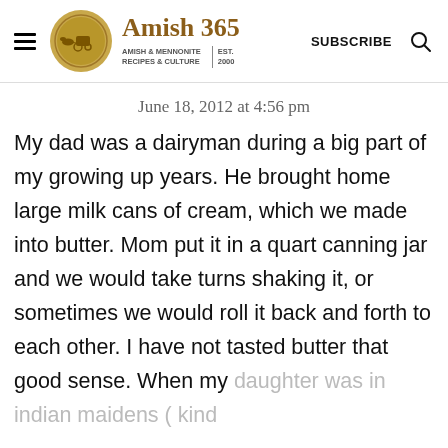Amish 365 | AMISH & MENNONITE RECIPES & CULTURE | EST. 2000 | SUBSCRIBE
June 18, 2012 at 4:56 pm
My dad was a dairyman during a big part of my growing up years. He brought home large milk cans of cream, which we made into butter. Mom put it in a quart canning jar and we would take turns shaking it, or sometimes we would roll it back and forth to each other. I have not tasted butter that good sense. When my daughter was in indian maidens ( kind